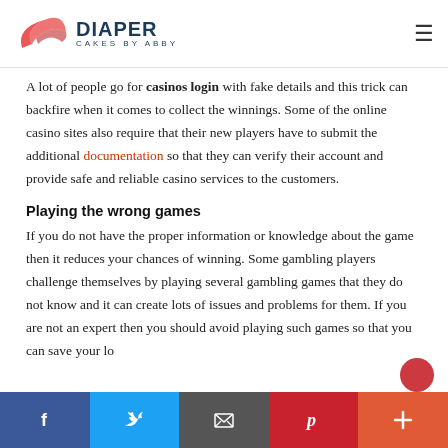DIAPER CAKES BY ABBY
A lot of people go for casinos login with fake details and this trick can backfire when it comes to collect the winnings. Some of the online casino sites also require that their new players have to submit the additional documentation so that they can verify their account and provide safe and reliable casino services to the customers.
Playing the wrong games
If you do not have the proper information or knowledge about the game then it reduces your chances of winning. Some gambling players challenge themselves by playing several gambling games that they do not know and it can create lots of issues and problems for them. If you are not an expert then you should avoid playing such games so that you can save your lo…
Facebook Twitter Email Pinterest Plus